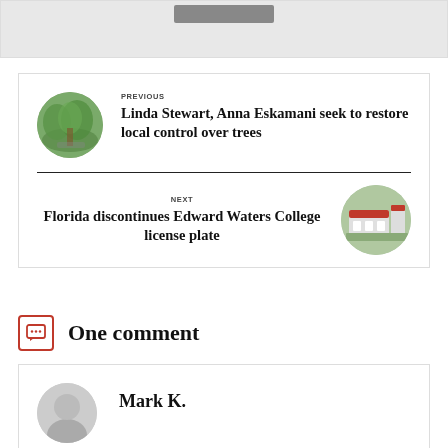[Figure (other): Gray banner area at top of page with a dark button element]
PREVIOUS
Linda Stewart, Anna Eskamani seek to restore local control over trees
NEXT
Florida discontinues Edward Waters College license plate
One comment
Mark K.